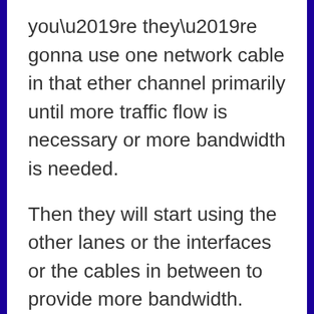you’re they’re gonna use one network cable in that ether channel primarily until more traffic flow is necessary or more bandwidth is needed.
Then they will start using the other lanes or the interfaces or the cables in between to provide more bandwidth.